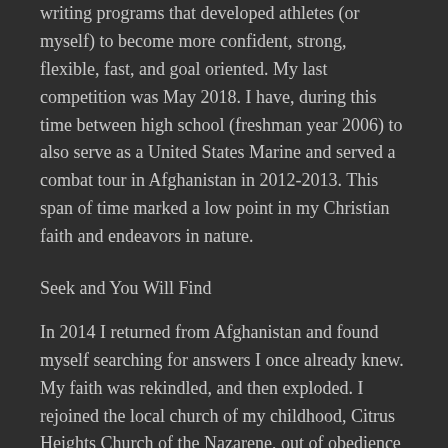writing programs that developed athletes (or myself) to become more confident, strong, flexible, fast, and goal oriented. My last competition was May 2018. I have, during this time between high school (freshman year 2006) to also serve as a United States Marine and served a combat tour in Afghanistan in 2012-2013. This span of time marked a low point in my Christian faith and endeavors in nature.
Seek and You Will Find
In 2014 I returned from Afghanistan and found myself searching for answers I once already knew. My faith was rekindled, and then exploded. I rejoined the local church of my childhood, Citrus Heights Church of the Nazarene, out of obedience to God. I wanted to attend a different church, but felt strongly through prayer that God called me back to my first church. There in 2015 I meant my wife-to-be, Jennifer Hope